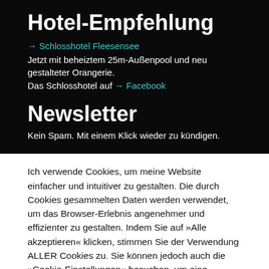Hotel-Empfehlung
→ Schlosshotel Fleesensee
Jetzt mit beheiztem 25m-Außenpool und neu gestalteter Orangerie.
Das Schlosshotel auf → Facebook
Newsletter
Kein Spam. Mit einem Klick wieder zu kündigen.
Ich verwende Cookies, um meine Website einfacher und intuitiver zu gestalten. Die durch Cookies gesammelten Daten werden verwendet, um das Browser-Erlebnis angenehmer und effizienter zu gestalten. Indem Sie auf »Alle akzeptieren« klicken, stimmen Sie der Verwendung ALLER Cookies zu. Sie können jedoch auch die »Cookie-Einstellungen« besuchen, um eine kontrollierte Zustimmung zu erteilen.
Einstellungen | Alle akzeptieren